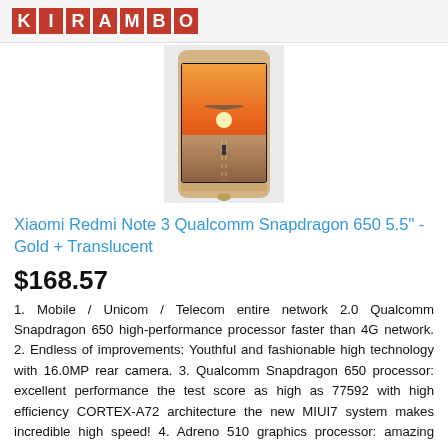[Figure (logo): KIRAMBO logo with red background squares each containing a white letter]
[Figure (photo): Xiaomi Redmi Note 3 smartphone in gold color showing a wallpaper of a person on a runway with sunset]
Xiaomi Redmi Note 3 Qualcomm Snapdragon 650 5.5" - Gold + Translucent
$168.57
1. Mobile / Unicom / Telecom entire network 2.0 Qualcomm Snapdragon 650 high-performance processor faster than 4G network. 2. Endless of improvements: Youthful and fashionable high technology with 16.0MP rear camera. 3. Qualcomm Snapdragon 650 processor: excellent performance the test score as high as 77592 with high efficiency CORTEX-A72 architecture the new MIUI7 system makes incredible high speed! 4. Adreno 510 graphics processor: amazing gaming experience is inseparable from the quality processor DirectX 12 and OpenGL ES3.1 and other game effects which can bring you an immersive gaming exp...